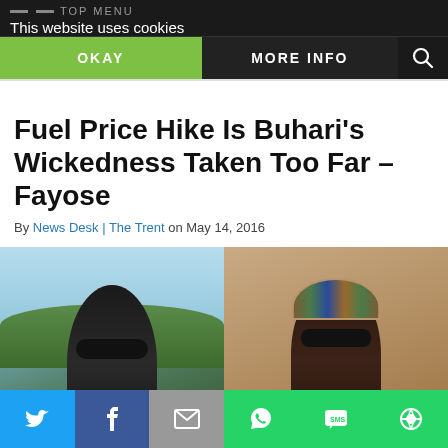TOP MENU
This website uses cookies
OKAY
MORE INFO
Fuel Price Hike Is Buhari’s Wickedness Taken Too Far – Fayose
By News Desk | The Trent on May 14, 2016
[Figure (photo): Side-by-side photos of two men: left photo shows a bald man wearing sunglasses outdoors, right photo shows a man wearing a traditional patterned cap and glasses indoors.]
Twitter | Facebook | Email | WhatsApp | SMS | Share